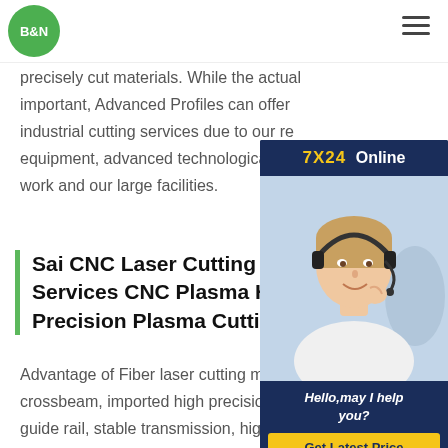[Figure (logo): B&N logo — white text on green circle]
precisely cut materials. While the actual... important, Advanced Profiles can offer industrial cutting services due to our re equipment, advanced technological kn work and our large facilities.
[Figure (photo): 7X24 Online chat widget showing a woman with headset and Get Latest Price button]
Sai CNC Laser Cutting 3D Services CNC Plasma High Precision Plasma Cutting Service
Advantage of Fiber laser cutting machine 1. Moving crossbeam, imported high precision racks and linear guide rail, stable transmission, high precision. 2. Machine frame, crossbeam and worktable adopt